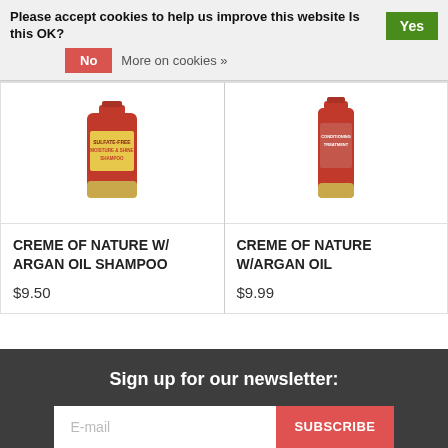Please accept cookies to help us improve this website Is this OK? Yes No More on cookies »
[Figure (photo): Product image: Creme of Nature Sulfate-Free Moisture & Shine Shampoo red bottle]
CREME OF NATURE w/ ARGAN OIL SHAMPOO
$9.50
[Figure (photo): Product image: Creme of Nature w/Argan Oil Conditioning Treatment red bottle]
CREME OF NATURE W/ARGAN OIL
$9.99
Sign up for our newsletter:
E-mail  SUBSCRIBE